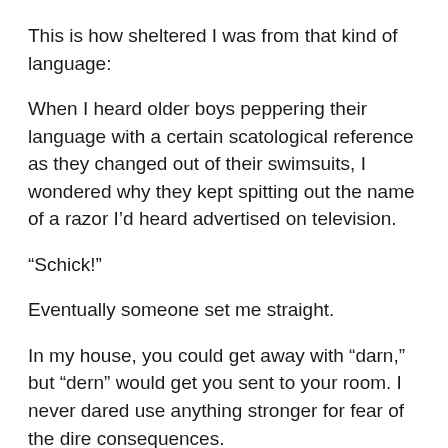This is how sheltered I was from that kind of language:
When I heard older boys peppering their language with a certain scatological reference as they changed out of their swimsuits, I wondered why they kept spitting out the name of a razor I'd heard advertised on television.
“Schick!”
Eventually someone set me straight.
In my house, you could get away with “darn,” but “dern” would get you sent to your room. I never dared use anything stronger for fear of the dire consequences.
Except that one time . . .
We were still in Virginia and I was 11 on the Saturday